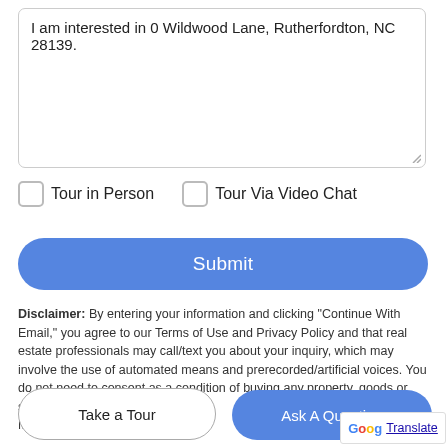I am interested in 0 Wildwood Lane, Rutherfordton, NC 28139.
Tour in Person   Tour Via Video Chat
Submit
Disclaimer: By entering your information and clicking "Continue With Email," you agree to our Terms of Use and Privacy Policy and that real estate professionals may call/text you about your inquiry, which may involve the use of automated means and prerecorded/artificial voices. You do not need to consent as a condition of buying any property, goods or services. Message/data rates may apply.
Take a Tour
Ask A Question
[Figure (logo): Google Translate logo button with 'G' icon and 'Translate' underlined link text]